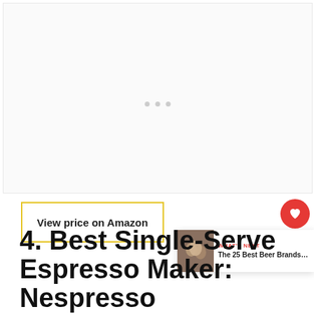[Figure (photo): Empty image placeholder with light gray background and faint border, with three small gray dots indicating an image carousel or loading state]
View price on Amazon
4. Best Single-Serve Espresso Maker: Nespresso